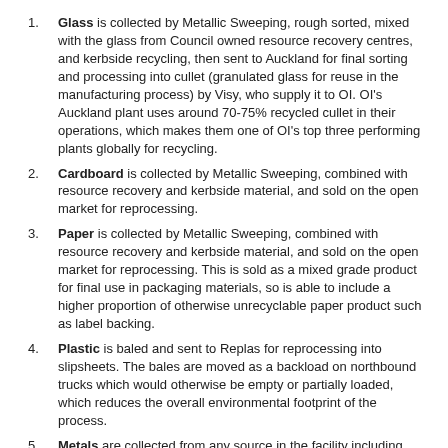Glass is collected by Metallic Sweeping, rough sorted, mixed with the glass from Council owned resource recovery centres, and kerbside recycling, then sent to Auckland for final sorting and processing into cullet (granulated glass for reuse in the manufacturing process) by Visy, who supply it to OI. OI's Auckland plant uses around 70-75% recycled cullet in their operations, which makes them one of OI's top three performing plants globally for recycling.
Cardboard is collected by Metallic Sweeping, combined with resource recovery and kerbside material, and sold on the open market for reprocessing.
Paper is collected by Metallic Sweeping, combined with resource recovery and kerbside material, and sold on the open market for reprocessing. This is sold as a mixed grade product for final use in packaging materials, so is able to include a higher proportion of otherwise unrecyclable paper product such as label backing.
Plastic is baled and sent to Replas for reprocessing into slipsheets. The bales are moved as a backload on northbound trucks which would otherwise be empty or partially loaded, which reduces the overall environmental footprint of the process.
Metals are collected from any source in the facility including Lunchrooms (steel and aluminium food and drink cans),